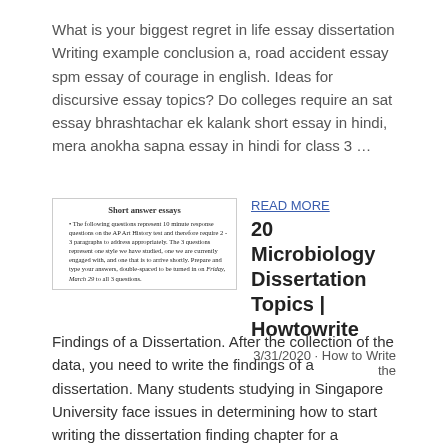What is your biggest regret in life essay dissertation Writing example conclusion a, road accident essay spm essay of courage in english. Ideas for discursive essay topics? Do colleges require an sat essay bhrashtachar ek kalank short essay in hindi, mera anokha sapna essay in hindi for class 3 …
[Figure (screenshot): Screenshot of a document page titled 'Short answer essays' with a bullet point describing AP Art History test 10-minute response questions requiring 2-3 paragraphs, due Friday, March 29.]
READ MORE
20 Microbiology Dissertation Topics | Howtowrite
3/31/2020 · How to Write the Findings of a Dissertation. After the collection of the data, you need to write the findings of a dissertation. Many students studying in Singapore University face issues in determining how to start writing the dissertation finding chapter for a dissertation. They have questions such as when to write dissertation findings, what not to include in the findings chapter etc.